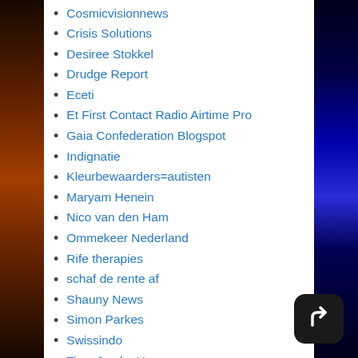Cosmicvisionnews
Crisis Solutions
Desiree Stokkel
Drudge Report
Eceti
Et First Contact Radio Airtime Pro
Gaia Confederation Blogspot
Indignatie
Kleurbewaarders=autisten
Maryam Henein
Nico van den Ham
Ommekeer Nederland
Rife therapies
schaf de rente af
Shauny News
Simon Parkes
Swissindo
Time 2wake Up
Timothy Charles Holmseth
Websites & Posters
What Does It Mean